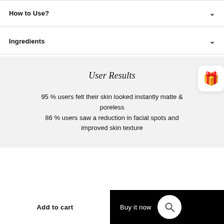How to Use?
Ingredients
User Results
95 % users felt their skin looked instantly matte & poreless
86 % users saw a reduction in facial spots and improved skin texture
Add to cart
Buy it now